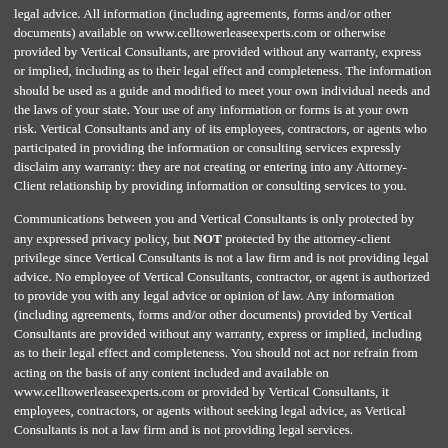legal advice. All information (including agreements, forms and/or other documents) available on www.celltowerleaseexperts.com or otherwise provided by Vertical Consultants, are provided without any warranty, express or implied, including as to their legal effect and completeness. The information should be used as a guide and modified to meet your own individual needs and the laws of your state. Your use of any information or forms is at your own risk. Vertical Consultants and any of its employees, contractors, or agents who participated in providing the information or consulting services expressly disclaim any warranty: they are not creating or entering into any Attorney-Client relationship by providing information or consulting services to you.
Communications between you and Vertical Consultants is only protected by any expressed privacy policy, but NOT protected by the attorney-client privilege since Vertical Consultants is not a law firm and is not providing legal advice. No employee of Vertical Consultants, contractor, or agent is authorized to provide you with any legal advice or opinion of law. Any information (including agreements, forms and/or other documents) provided by Vertical Consultants are provided without any warranty, express or implied, including as to their legal effect and completeness. You should not act nor refrain from acting on the basis of any content included and available on www.celltowerleaseexperts.com or provided by Vertical Consultants, it employees, contractors, or agents without seeking legal advice, as Vertical Consultants is not a law firm and is not providing legal services.